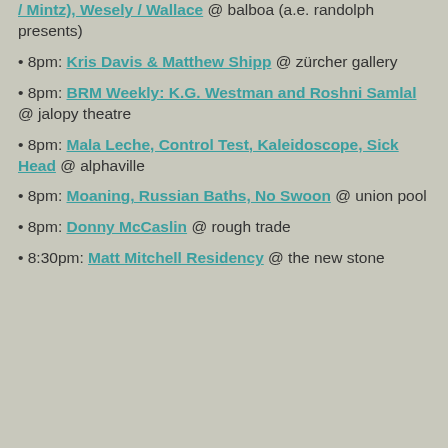/ Mintz), Wesely / Wallace @ balboa (a.e. randolph presents)
• 8pm: Kris Davis & Matthew Shipp @ zürcher gallery
• 8pm: BRM Weekly: K.G. Westman and Roshni Samlal @ jalopy theatre
• 8pm: Mala Leche, Control Test, Kaleidoscope, Sick Head @ alphaville
• 8pm: Moaning, Russian Baths, No Swoon @ union pool
• 8pm: Donny McCaslin @ rough trade
• 8:30pm: Matt Mitchell Residency @ the new stone